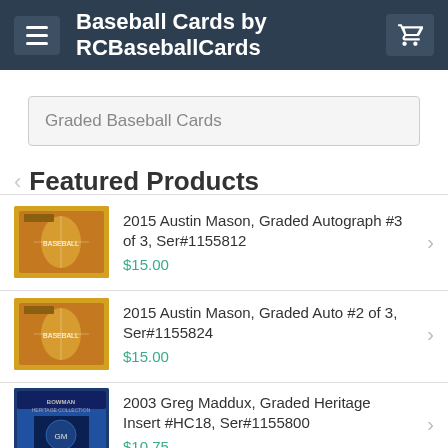Baseball Cards by RCBaseballCards
Graded Baseball Cards
Featured Products
2015 Austin Mason, Graded Autograph #3 of 3, Ser#1155812 $15.00
2015 Austin Mason, Graded Auto #2 of 3, Ser#1155824 $15.00
2003 Greg Maddux, Graded Heritage Insert #HC18, Ser#1155800 $10.75
2013 Nolan Sanburn, Graded Bowman Chrome